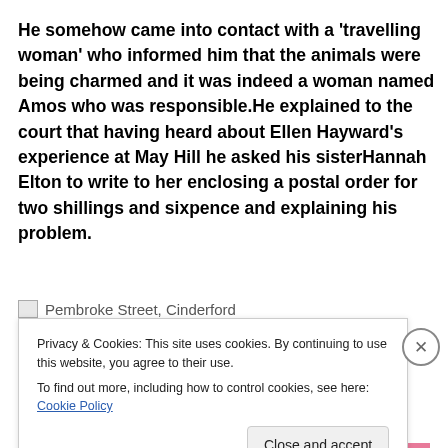He somehow came into contact with a 'travelling woman' who informed him that the animals were being charmed and it was indeed a woman named Amos who was responsible.He explained to the court that having heard about Ellen Hayward's experience at May Hill he asked his sisterHannah Elton to write to her enclosing a postal order for two shillings and sixpence and explaining his problem.
[Figure (photo): Image placeholder icon followed by text 'Pembroke Street, Cinderford']
Privacy & Cookies: This site uses cookies. By continuing to use this website, you agree to their use.
To find out more, including how to control cookies, see here: Cookie Policy
Close and accept